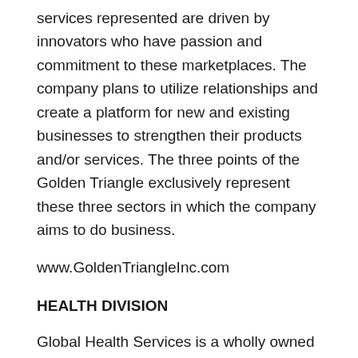services represented are driven by innovators who have passion and commitment to these marketplaces. The company plans to utilize relationships and create a platform for new and existing businesses to strengthen their products and/or services. The three points of the Golden Triangle exclusively represent these three sectors in which the company aims to do business.
www.GoldenTriangleInc.com
HEALTH DIVISION
Global Health Services is a wholly owned subsidiary of Golden Triangle Ventures (operating under its Health Division). Dedicated to the promotion of well-being and natural wellness, the company currently does business in